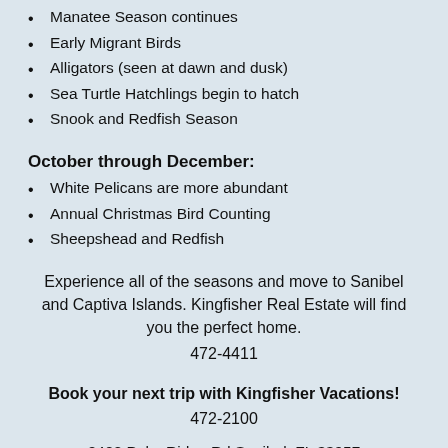Manatee Season continues
Early Migrant Birds
Alligators (seen at dawn and dusk)
Sea Turtle Hatchlings begin to hatch
Snook and Redfish Season
October through December:
White Pelicans are more abundant
Annual Christmas Bird Counting
Sheepshead and Redfish
Experience all of the seasons and move to Sanibel and Captiva Islands. Kingfisher Real Estate will find you the perfect home.
472-4411
Book your next trip with Kingfisher Vacations!
472-2100
2402 Palm Ridge Rd Sanibel, FL 33957